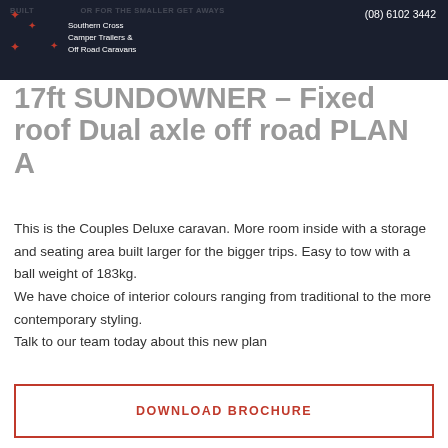Southern Cross Camper Trailers & Off Road Caravans | (08) 6102 3442
17ft SUNDOWNER - Fixed roof Dual axle off road PLAN A
This is the Couples Deluxe caravan. More room inside with a storage and seating area built larger for the bigger trips. Easy to tow with a ball weight of 183kg.
We have choice of interior colours ranging from traditional to the more contemporary styling.
Talk to our team today about this new plan
DOWNLOAD BROCHURE